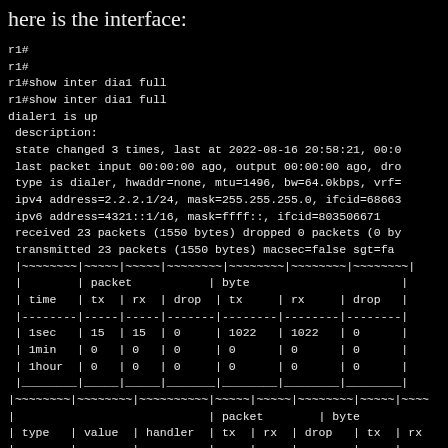here is the interface:
r1#
r1#
r1#show inter dia1 full
r1#show inter dia1 full
dialer1 is up
 description:
 state changed 3 times, last at 2022-08-16 20:58:21, 00:0
 last packet input 00:00:00 ago, output 00:00:00 ago, dro
 type is dialer, hwaddr=none, mtu=1496, bw=64.0kbps, vrf=
 ipv4 address=2.2.2.1/24, mask=255.255.255.0, ifcid=68663
 ipv6 address=4321::1/16, mask=ffff::, ifcid=803506671
 received 23 packets (1550 bytes) dropped 0 packets (0 by
 transmitted 23 packets (1550 bytes) macsec=false sgt=fa
 |~~~~~~~~|~~~~~|~~~~~|~~~~~~~~|~~~~~~~~|~~~~~~~~|~~~~~~~~|
 |        | packet           | byte                      |
 | time   | tx  | rx  | drop  | tx     | rx     | drop   |
 |--------|-----|-----|-------|--------|--------|--------|
 | 1sec   | 15  | 15  | 0     | 1022   | 1022   | 0      |
 | 1min   | 0   | 0   | 0     | 0      | 0      | 0      |
 | 1hour  | 0   | 0   | 0     | 0      | 0      | 0      |
 |________|_____|_____|_______|________|________|________|
 |~~~~~~~~|~~~~~~~~|~~~~~~~~~~|~~~~~|~~~~~|~~~~~~~~|~~~~~|~~~~
 |                            | packet        | byte
 | type   | value  | handler  | tx  | rx  | drop   | tx  | rx
 |--------|--------|----------|-----|-----|--------|-----|-----
 | ethtyp | 0000   | null     | 0   | 0   | 0      | 0   | 0
 | ethtyp | 0800   | ip4      | 10  | 10  | 0      | 660 | 660